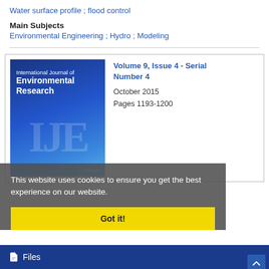Water surface profile ;   flood control
Main Subjects
Environmental Engineering ;  Hydro ;  Modeling
[Figure (screenshot): Journal cover of International Journal of Environmental Research with blue gradient background and large watermark letters IJE]
Volume 9, Issue 4 - Serial Number 4
October 2015
Pages 1193-1200
This website uses cookies to ensure you get the best experience on our website.
Got it!
Files